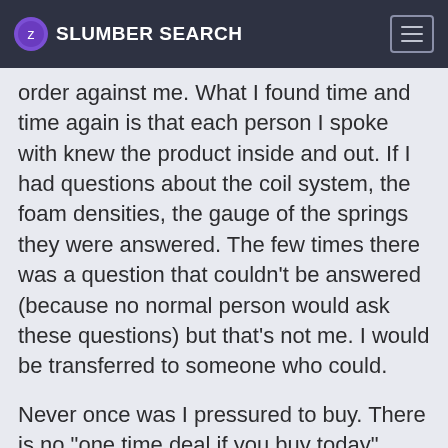SLUMBER SEARCH
order against me. What I found time and time again is that each person I spoke with knew the product inside and out. If I had questions about the coil system, the foam densities, the gauge of the springs they were answered. The few times there was a question that couldn't be answered (because no normal person would ask these questions) but that's not me. I would be transferred to someone who could.
Never once was I pressured to buy. There is no "one time deal if you buy today" Pressure what so ever. Saatva